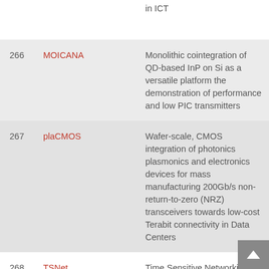| # | Name | Description |
| --- | --- | --- |
|  |  | in ICT |
| 266 | MOICANA | Monolithic cointegration of QD-based InP on Si as a versatile platform the demonstration of performance and low PIC transmitters |
| 267 | plaCMOS | Wafer-scale, CMOS integration of photonics plasmonics and electronics devices for mass manufacturing 200Gb/s non-return-to-zero (NRZ) transceivers towards low-cost Terabit connectivity in Data Centers |
| 268 | TSNet | Time Sensitive Networking (TSN) |